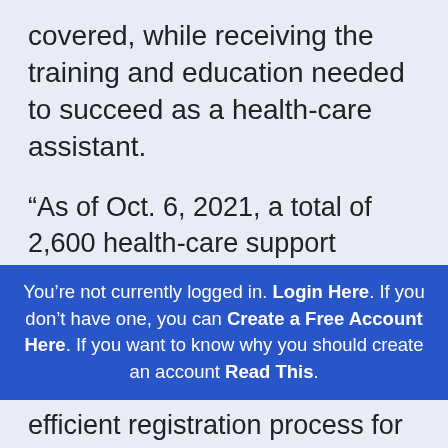covered, while receiving the training and education needed to succeed as a health-care assistant.
“As of Oct. 6, 2021, a total of 2,600 health-care support workers have been hired through the Health Career Access Program, many of whom have already started their formal health-care training. We are also making it easier for Canadian out-of-province health-care assistants to work in B.C.
“In November 2018, the Health Care Assistant...
You’re not currently logged in. Login Here. If you don’t have one, you can Create a Free Account Here. If you want to know why you should create an account Read This.
efficient registration process for out-of-